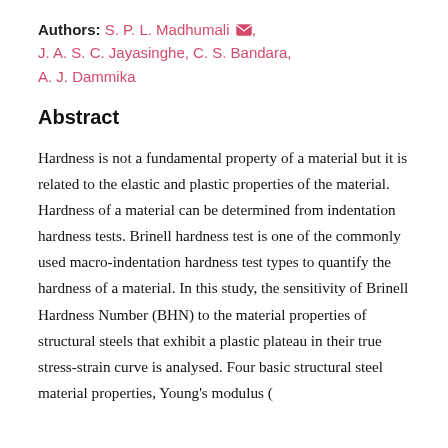Authors: S. P. L. Madhumali, J. A. S. C. Jayasinghe, C. S. Bandara, A. J. Dammika
Abstract
Hardness is not a fundamental property of a material but it is related to the elastic and plastic properties of the material. Hardness of a material can be determined from indentation hardness tests. Brinell hardness test is one of the commonly used macro-indentation hardness test types to quantify the hardness of a material. In this study, the sensitivity of Brinell Hardness Number (BHN) to the material properties of structural steels that exhibit a plastic plateau in their true stress-strain curve is analysed. Four basic structural steel material properties, Young's modulus (